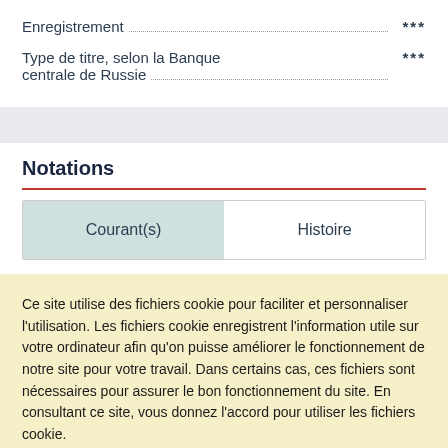Enregistrement ***
Type de titre, selon la Banque centrale de Russie ***
Notations
| Courant(s) | Histoire |
| --- | --- |
Ce site utilise des fichiers cookie pour faciliter et personnaliser l'utilisation. Les fichiers cookie enregistrent l'information utile sur votre ordinateur afin qu'on puisse améliorer le fonctionnement de notre site pour votre travail. Dans certains cas, ces fichiers sont nécessaires pour assurer le bon fonctionnement du site. En consultant ce site, vous donnez l'accord pour utiliser les fichiers cookie.
Ok